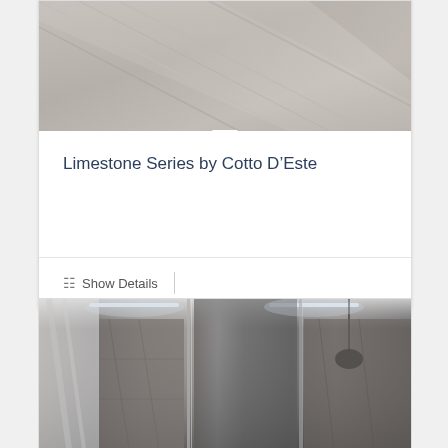[Figure (photo): Close-up of limestone tile flooring texture in gray/beige tones with diagonal lines]
Limestone Series by Cotto D’Este
Show Details
[Figure (photo): Interior bathroom scene with dark stone wall tiles, glass shower panels, and ambient LED ceiling lighting]